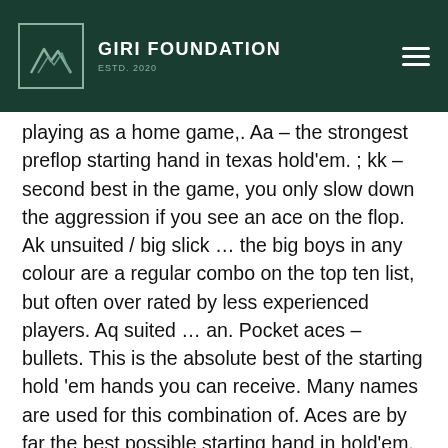GIRI FOUNDATION ESTD. 2020
playing as a home game,. Aa – the strongest preflop starting hand in texas hold'em. ; kk – second best in the game, you only slow down the aggression if you see an ace on the flop. Ak unsuited / big slick … the big boys in any colour are a regular combo on the top ten list, but often over rated by less experienced players. Aq suited … an. Pocket aces – bullets. This is the absolute best of the starting hold 'em hands you can receive. Many names are used for this combination of. Aces are by far the best possible starting hand in hold'em, closely followed by kings. However, you should be aware that even aces or kings can get cracked, and. Until then, you can greatly improve your poker hand strength skills by only choosing the best poker starting hands. Starting hands